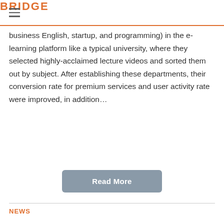BRIDGE
business English, startup, and programming) in the e-learning platform like a typical university, where they selected highly-acclaimed lecture videos and sorted them out by subject. After establishing these departments, their conversion rate for premium services and user activity rate were improved, in addition…
Read More
NEWS